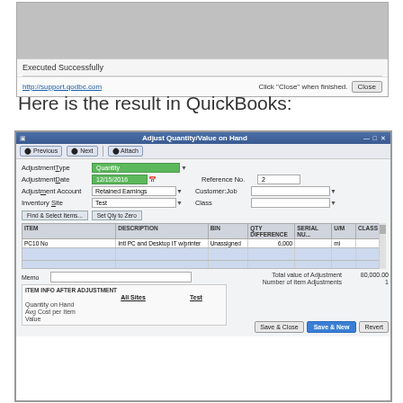[Figure (screenshot): Dialog box showing 'Executed Successfully' status bar with a link to http://support.qodbc.com and a Close button]
Here is the result in QuickBooks:
[Figure (screenshot): QuickBooks 'Adjust Quantity/Value on Hand' dialog showing inventory adjustment with Quantity type, date 12/15/2016, Retained Earnings account, Test inventory site, Reference No. 2, item PC10 No with description 'Intl PC and Desktop IT w/printer', Unassigned bin, QTY DIFFERENCE of 6,000, Total value of Adjustment 80,000.00, Number of Item Adjustments 1, with Save & Close, Save & New, and Revert buttons]